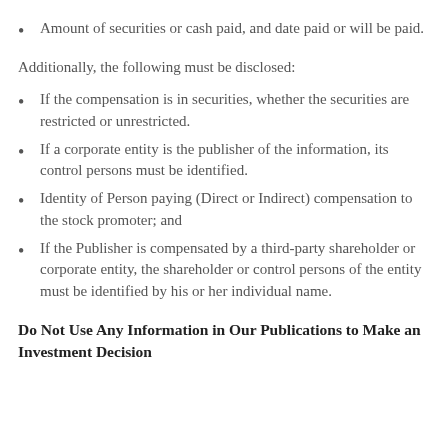Amount of securities or cash paid, and date paid or will be paid.
Additionally, the following must be disclosed:
If the compensation is in securities, whether the securities are restricted or unrestricted.
If a corporate entity is the publisher of the information, its control persons must be identified.
Identity of Person paying (Direct or Indirect) compensation to the stock promoter; and
If the Publisher is compensated by a third-party shareholder or corporate entity, the shareholder or control persons of the entity must be identified by his or her individual name.
Do Not Use Any Information in Our Publications to Make an Investment Decision